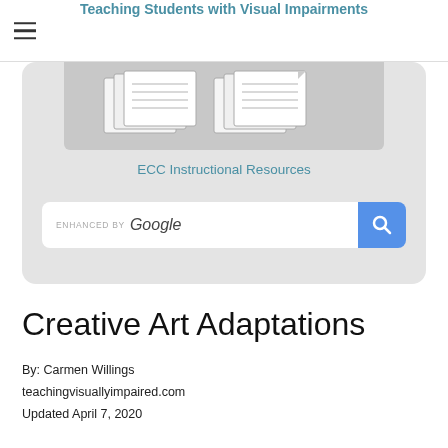Teaching Students with Visual Impairments
[Figure (screenshot): Screenshot showing ECC Instructional Resources card with document image and Google search bar]
Creative Art Adaptations
By: Carmen Willings
teachingvisuallyimpaired.com
Updated April 7, 2020